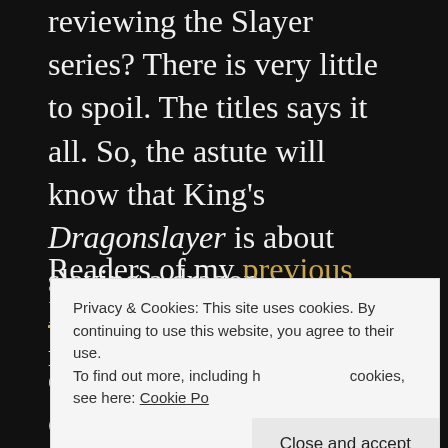reviewing the Slayer series? There is very little to spoil. The titles says it all. So, the astute will know that King's Dragonslayer is about slaying a dragon.
Readers of my previous Black Library reviews will remember one
Privacy & Cookies: This site uses cookies. By continuing to use this website, you agree to their use.
To find out more, including how to control cookies, see here: Cookie Policy
characters was 'predictable or